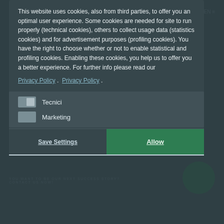[Figure (screenshot): Background website page with dark overlay showing a partially visible corporate engineering website with logo, navigation (IT | EN), subtitle text, and a green circular button, all dimmed behind a cookie consent modal dialog.]
This website uses cookies, also from third parties, to offer you an optimal user experience. Some cookies are needed for site to run properly (technical cookies), others to collect usage data (statistics cookies) and for advertisement purposes (profiling cookies). You have the right to choose whether or not to enable statistical and profiling cookies. Enabling these cookies, you help us to offer you a better experience. For further info please read our
Privacy Policy .  Privacy Policy .
Tecnici
Marketing
Save Settings
Allow